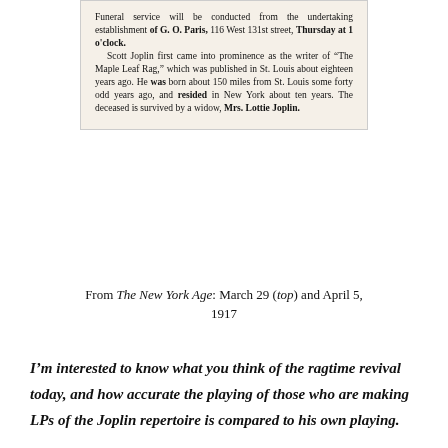[Figure (photo): Scanned newspaper clipping on aged beige paper. Text reads: 'Funeral service will be conducted from the undertaking establishment of G. O. Paris, 116 West 131st street, Thursday at 1 o'clock. Scott Joplin first came into prominence as the writer of "The Maple Leaf Rag," which was published in St. Louis about eighteen years ago. He was born about 150 miles from St. Louis some forty odd years ago, and resided in New York about ten years. The deceased is survived by a widow, Mrs. Lottie Joplin.']
From The New York Age: March 29 (top) and April 5, 1917
I'm interested to know what you think of the ragtime revival today, and how accurate the playing of those who are making LPs of the Joplin repertoire is compared to his own playing.